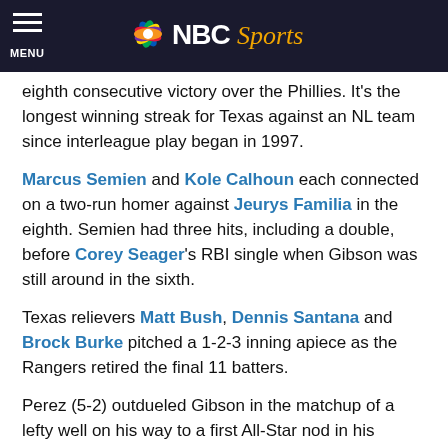NBC Sports
eighth consecutive victory over the Phillies. It's the longest winning streak for Texas against an NL team since interleague play began in 1997.
Marcus Semien and Kole Calhoun each connected on a two-run homer against Jeurys Familia in the eighth. Semien had three hits, including a double, before Corey Seager's RBI single when Gibson was still around in the sixth.
Texas relievers Matt Bush, Dennis Santana and Brock Burke pitched a 1-2-3 inning apiece as the Rangers retired the final 11 batters.
Perez (5-2) outdueled Gibson in the matchup of a lefty well on his way to a first All-Star nod in his second stint with the Rangers and a right-hander who was Texas' opening day starter last year and a first time All Star